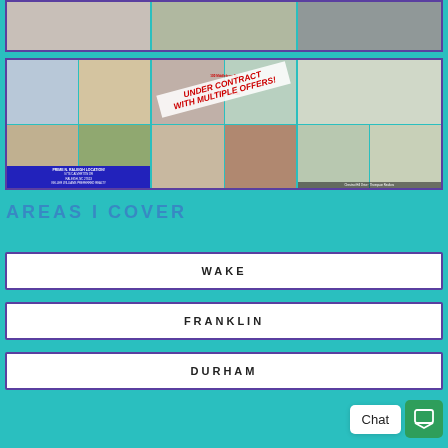[Figure (photo): Three real estate agent/property photos at the top of the page in a row]
[Figure (photo): Grid of real estate listing photos — three columns of property listings. First listing has 'PRIME N. RALEIGH LOCATION!' badge. Second listing has 'UNDER CONTRACT WITH MULTIPLE OFFERS!' overlay in red diagonal text. Third listing shows exterior and interior shots.]
AREAS I COVER
WAKE
FRANKLIN
DURHAM